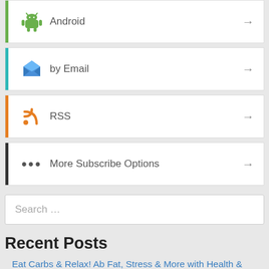Android
by Email
RSS
More Subscribe Options
Search ...
Recent Posts
Eat Carbs & Relax! Ab Fat, Stress & More with Health & Perimenopause Coach Anna Araujo
Johnny Depp, Jessica Chastain, Steve Rioters, Robert